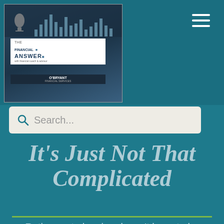[Figure (screenshot): Website header screenshot showing 'The Financial Answer' podcast logo with microphone and music bars graphic, and a hamburger menu icon in the top right corner]
[Figure (screenshot): Search bar with magnifying glass icon and placeholder text 'Search...' on a beige/cream background]
It’s Just Not That Complicated
Retirement planning doesn't have to be complicated. We'll talk about why some people make it harder than it should be. We'll also talk about his